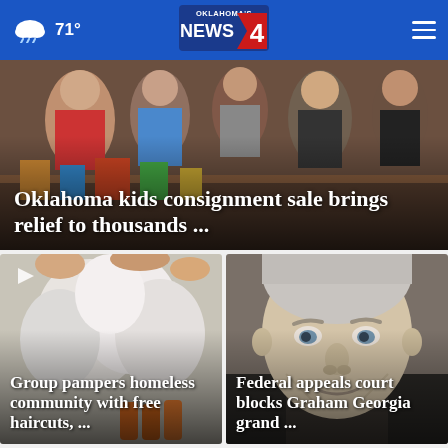71° Oklahoma's News 4
[Figure (photo): People at a consignment sale event, overhead view]
Oklahoma kids consignment sale brings relief to thousands ...
[Figure (photo): Bags of diapers and supplies being distributed to homeless community]
Group pampers homeless community with free haircuts, ...
[Figure (photo): Close-up portrait of Lindsey Graham, older white-haired man]
Federal appeals court blocks Graham Georgia grand ...